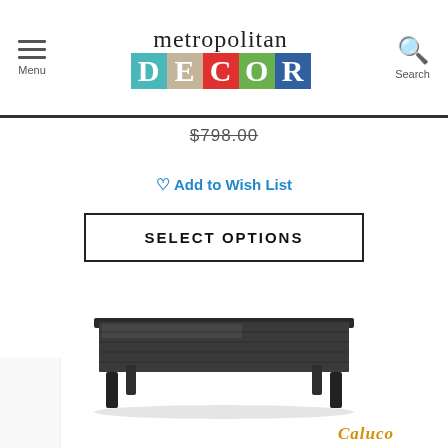metropolitan DECOR — Menu / Search header
$798.00
♡ Add to Wish List
SELECT OPTIONS
[Figure (photo): Dark wicker/rattan rectangular outdoor dining or coffee table with glass top, photographed on white background with subtle shadow. Four legs visible.]
Caluco